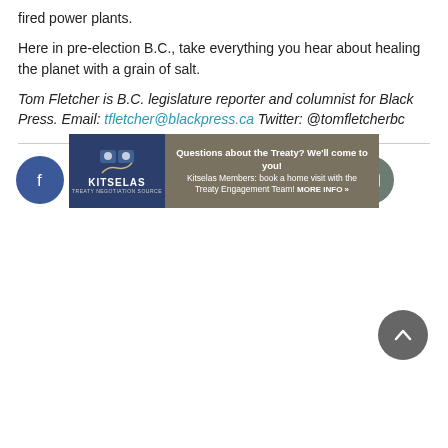fired power plants.
Here in pre-election B.C., take everything you hear about healing the planet with a grain of salt.
Tom Fletcher is B.C. legislature reporter and columnist for Black Press. Email: tfletcher@blackpress.ca Twitter: @tomfletcherbc
[Figure (infographic): Social media share icons: Facebook (blue), Twitter (light blue), Reddit (orange), Email (grey), Print (grey), Comment (grey), Image/Gallery (dark grey-green)]
[Figure (infographic): Back to top button — dark grey circle with upward chevron arrow, positioned bottom right]
[Figure (infographic): Kitselas advertisement banner: 'Questions about the Treaty? We'll come to you! Kitselas Members: book a home visit with the Treaty Engagement Team! MORE INFO »']